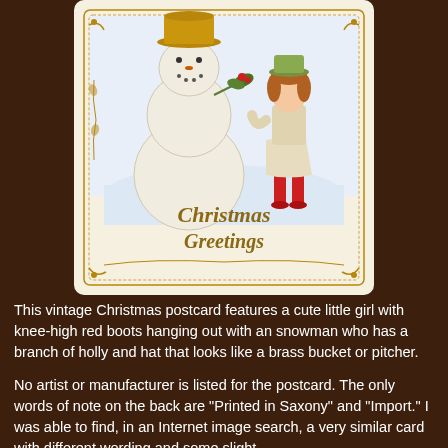[Figure (illustration): A vintage Christmas postcard showing a young girl in a white coat with knee-high red boots standing next to a large snowman. The snowman has a branch of holly and a brass bucket or pitcher for a hat. The postcard has decorative golden borders and reads 'Christmas Greetings' in ornate golden lettering. The background is cream/off-white with a wintry blue snow scene.]
This vintage Christmas postcard features a cute little girl with knee-high red boots hanging out with an snowman who has a branch of holly and hat that looks like a brass bucket or pitcher.
No artist or manufacturer is listed for the postcard. The only words of note on the back are "Printed in Saxony" and "Import." I was able to find, in an Internet image search, a very similar card with different wording and some slight